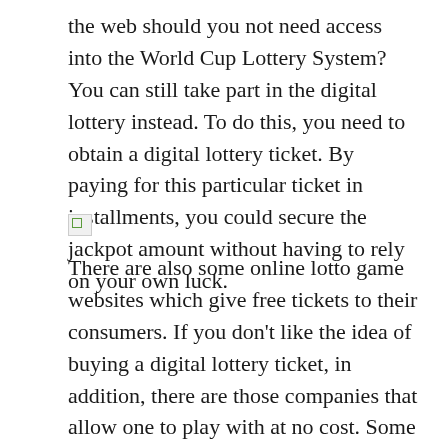the web should you not need access into the World Cup Lottery System? You can still take part in the digital lottery instead. To do this, you need to obtain a digital lottery ticket. By paying for this particular ticket in installments, you could secure the jackpot amount without having to rely on your own luck.
[Figure (other): Broken/missing image placeholder icon]
There are also some online lotto game websites which give free tickets to their consumers. If you don't like the idea of buying a digital lottery ticket, in addition, there are those companies that allow one to play with at no cost. Some websites give out free lottery ticket sales promotions to keep their users curious.